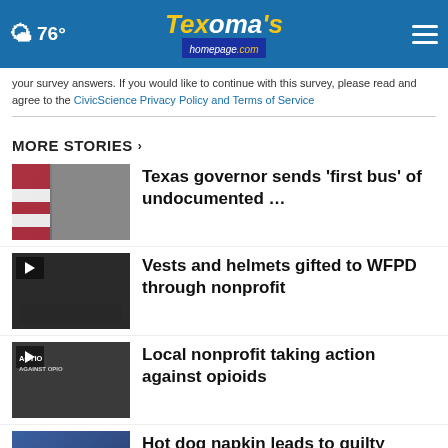76° Texoma's homepage.com
your survey answers. If you would like to continue with this survey, please read and agree to the CivicScience Privacy Policy and Terms of Service
MORE STORIES ›
Texas governor sends 'first bus' of undocumented …
Vests and helmets gifted to WFPD through nonprofit
Local nonprofit taking action against opioids
Hot dog napkin leads to guilty verdict in 29-year-old …